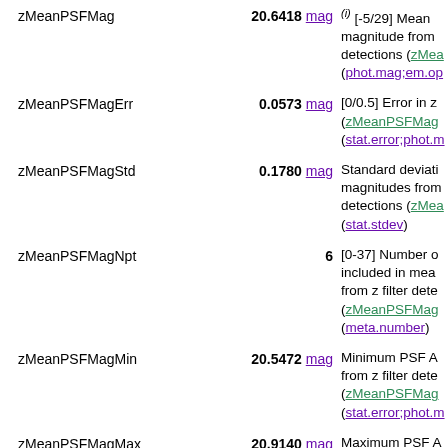zMeanPSFMag | 20.6418 mag | (i) [-5/29] Mean magnitude from detections (zMeanPSFMag) (phot.mag;em.op...)
zMeanPSFMagErr | 0.0573 mag | [0/0.5] Error in z (zMeanPSFMag) (stat.error;phot.m...)
zMeanPSFMagStd | 0.1780 mag | Standard deviation magnitudes from detections (zMeanPSFMag) (stat.stdev)
zMeanPSFMagNpt | 6 | [0-37] Number of included in mean from z filter detections (zMeanPSFMag) (meta.number)
zMeanPSFMagMin | 20.5472 mag | Minimum PSF Ap from z filter detections (zMeanPSFMag) (stat.error;phot.m...)
zMeanPSFMagMax | 20.9140 mag | Maximum PSF Ap from z filter detections (zMeanPSFMag) (stat.error;phot.m...)